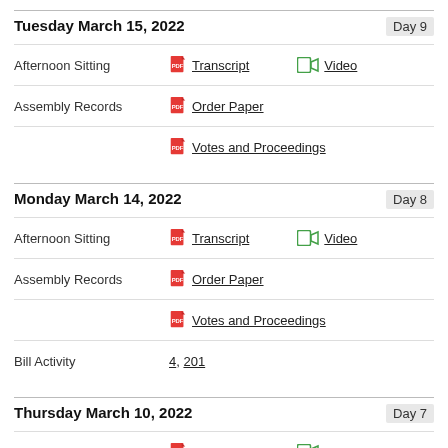Tuesday March 15, 2022 — Day 9
Afternoon Sitting — Transcript, Video
Assembly Records — Order Paper
Votes and Proceedings
Monday March 14, 2022 — Day 8
Afternoon Sitting — Transcript, Video
Assembly Records — Order Paper
Votes and Proceedings
Bill Activity — 4, 201
Thursday March 10, 2022 — Day 7
Afternoon Sitting — Transcript, Video
Assembly Records — Order Paper